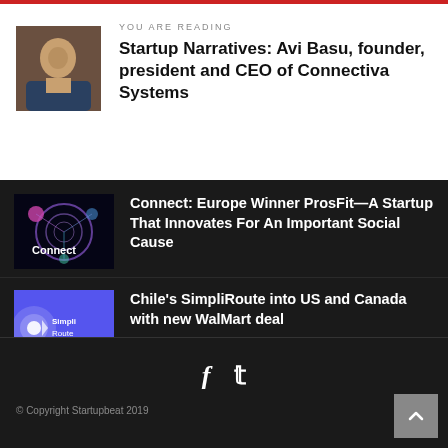YOU ARE READING
Startup Narratives: Avi Basu, founder, president and CEO of Connectiva Systems
Connect: Europe Winner ProsFit—A Startup That Innovates For An Important Social Cause
Chile's SimpliRoute into US and Canada with new WalMart deal
Founders take note: ULTRA can help you scale your cloud practice
© Copyright Startupbeat 2019